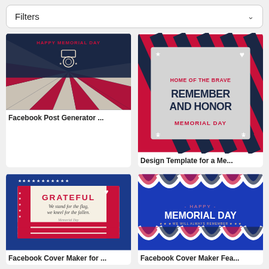Filters
[Figure (illustration): Facebook Post Generator - Memorial Day themed card with dark navy background, radiating red/cream stripes, and a military medal icon with 'Happy Memorial Day' text]
Facebook Post Generator ...
[Figure (illustration): Design Template for Memorial Day - gray center with red/navy diagonal stripe border, stars in corners, text: HOME OF THE BRAVE / REMEMBER AND HONOR / MEMORIAL DAY]
Design Template for a Me...
[Figure (illustration): Facebook Cover Maker - American flag themed with stars, red stripes, text: GRATEFUL / We stand for the flag, we kneel for the fallen. / Memorial Day]
Facebook Cover Maker for ...
[Figure (illustration): Facebook Cover Maker - Blue background with patriotic bunting arches, text: - HAPPY - / MEMORIAL DAY / WE WILL ALWAYS REMEMBER]
Facebook Cover Maker Fea...
[Figure (illustration): Facebook Cover Generator - cream/red/navy wavy design with stars, text: MEMORIAL DAY / WE WILL NOT FORGET]
Facebook Cover Generator...
[Figure (illustration): Partially visible red Memorial Day card at bottom right]